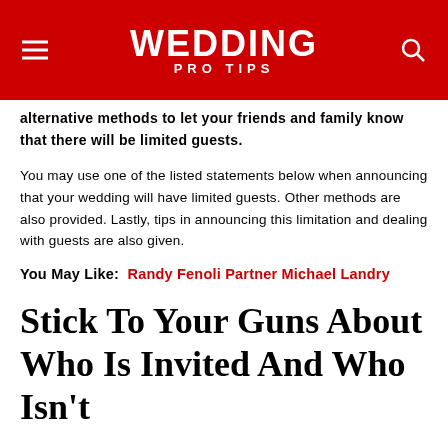WEDDING PRO TIPS
alternative methods to let your friends and family know that there will be limited guests.
You may use one of the listed statements below when announcing that your wedding will have limited guests. Other methods are also provided. Lastly, tips in announcing this limitation and dealing with guests are also given.
You May Like: Randy Fenoli Partner Michael Landry
Stick To Your Guns About Who Is Invited And Who Isn't
Once the RSVPs start trickling in, stick to your guns: Some guests may try to pressure you into inviting them to the ceremony also. But if you make one exception, you'll invariably have to make another one. So stay